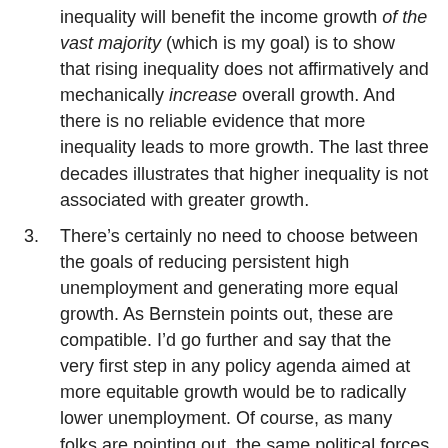inequality will benefit the income growth of the vast majority (which is my goal) is to show that rising inequality does not affirmatively and mechanically increase overall growth. And there is no reliable evidence that more inequality leads to more growth. The last three decades illustrates that higher inequality is not associated with greater growth.
3. There’s certainly no need to choose between the goals of reducing persistent high unemployment and generating more equal growth. As Bernstein points out, these are compatible. I’d go further and say that the very first step in any policy agenda aimed at more equitable growth would be to radically lower unemployment. Of course, as many folks are pointing out, the same political forces and economic interests stand in the way of both goals.
4. Policy should be focused on generating higher